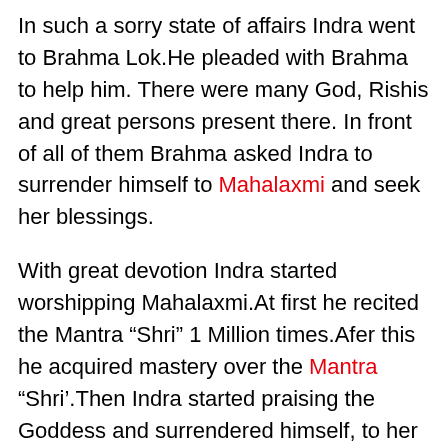In such a sorry state of affairs Indra went to Brahma Lok.He pleaded with Brahma to help him. There were many God, Rishis and great persons present there. In front of all of them Brahma asked Indra to surrender himself to Mahalaxmi and seek her blessings.
With great devotion Indra started worshipping Mahalaxmi.At first he recited the Mantra “Shri” 1 Million times.Afer this he acquired mastery over the Mantra “Shri’.Then Indra started praising the Goddess and surrendered himself, to her mercy.
Pleased with him, Mahalaxmi manifested before Indra.Indra then begged her to help him regain his